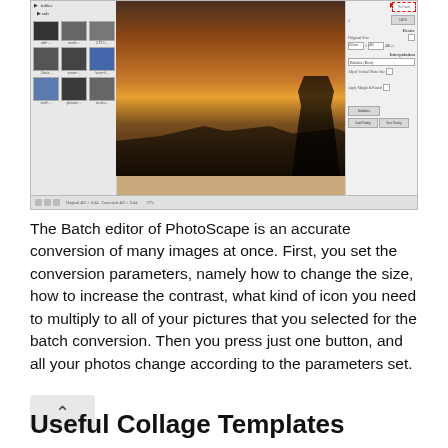[Figure (screenshot): Screenshot of PhotoScape Batch editor showing a photo of a woman with a hat at sunset, with left panel thumbnail grid and right panel settings (Resize, Interpolation, etc.)]
The Batch editor of PhotoScape is an accurate conversion of many images at once. First, you set the conversion parameters, namely how to change the size, how to increase the contrast, what kind of icon you need to multiply to all of your pictures that you selected for the batch conversion. Then you press just one button, and all your photos change according to the parameters set.
[Figure (other): Back/up navigation button (chevron/caret symbol) in a light grey rounded rectangle]
Useful Collage Templates